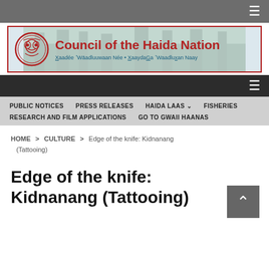[Figure (logo): Council of the Haida Nation website header with circular red totem-style logo, title 'Council of the Haida Nation' in red bold text, and subtitle 'Xaadée 'Wāadluuwaan Née • XaaydaGa 'Waadluxan Naay' in teal text, set against a forested background.]
PUBLIC NOTICES   PRESS RELEASES   HAIDA LAAS   FISHERIES   RESEARCH AND FILM APPLICATIONS   GO TO GWAII HAANAS
HOME > CULTURE > Edge of the knife: Kidnanang (Tattooing)
Edge of the knife: Kidnanang (Tattooing)